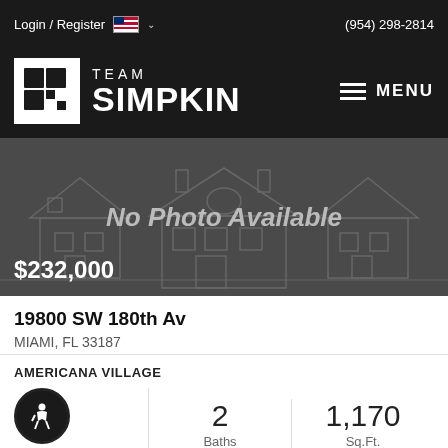Login / Register   (954) 298-2814
[Figure (logo): Team Simpkin real estate logo with stylized S on white square background and TEAM SIMPKIN text, hamburger menu on right]
[Figure (photo): No Photo Available placeholder image with house silhouette outline on dark gray background, price overlay $232,000]
19800 SW 180th Av
MIAMI, FL 33187
AMERICANA VILLAGE
Beds 2 Baths 1,170 Sq.Ft.